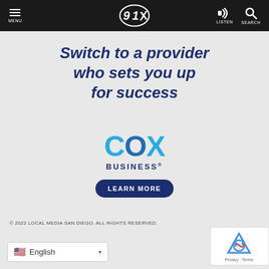MENU | 91X Logo | LISTEN | SEARCH
Switch to a provider who sets you up for success
[Figure (logo): Cox Business logo with blue COX text and BUSINESS wordmark, followed by a LEARN MORE button]
© 2022 LOCAL MEDIA SAN DIEGO. ALL RIGHTS RESERVED.
English (language selector with US flag)